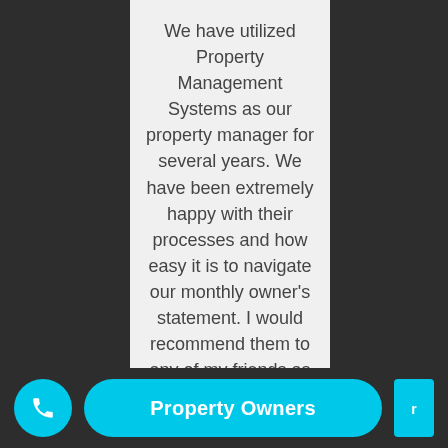We have utilized Property Management Systems as our property manager for several years. We have been extremely happy with their processes and how easy it is to navigate our monthly owner's statement. I would recommend them to any of my friends as a PM or as a rental
Property Owners